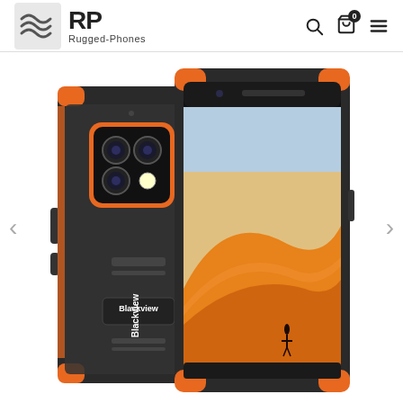RP Rugged-Phones
[Figure (photo): Product photo of a Blackview rugged smartphone shown from two angles: back view showing triple camera setup with orange accents and textured black body with 'Blackview' branding, and front view showing the screen displaying a desert landscape with sand dunes and a person silhouetted against an orange sky.]